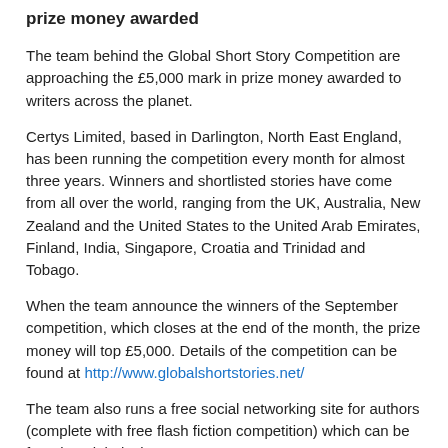prize money awarded
The team behind the Global Short Story Competition are approaching the £5,000 mark in prize money awarded to writers across the planet.
Certys Limited, based in Darlington, North East England, has been running the competition every month for almost three years. Winners and shortlisted stories have come from all over the world, ranging from the UK, Australia, New Zealand and the United States to the United Arab Emirates, Finland, India, Singapore, Croatia and Trinidad and Tobago.
When the team announce the winners of the September competition, which closes at the end of the month, the prize money will top £5,000. Details of the competition can be found at http://www.globalshortstories.net/
The team also runs a free social networking site for authors (complete with free flash fiction competition) which can be found at globalwriters.net